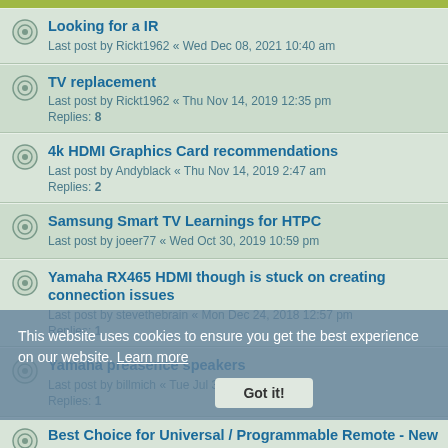Looking for a IR
Last post by Rickt1962 « Wed Dec 08, 2021 10:40 am
TV replacement
Last post by Rickt1962 « Thu Nov 14, 2019 12:35 pm
Replies: 8
4k HDMI Graphics Card recommendations
Last post by Andyblack « Thu Nov 14, 2019 2:47 am
Replies: 2
Samsung Smart TV Learnings for HTPC
Last post by joeer77 « Wed Oct 30, 2019 10:59 pm
Yamaha RX465 HDMI though is stuck on creating connection issues
Last post by stevethebrain « Mon Dec 24, 2018 12:57 pm
Replies: 1
Yamaha preasence speakers
Last post by billmich « Tue Jul 31, 2018 7:44 pm
Replies: 1
Best Choice for Universal / Programmable Remote - New HTPC
Last post by jordaver « Thu Feb 08, 2018 10:59 pm
Replies: 6
HDMI over IP to extend multiple sources
Last post by Scallica « Thu Dec 21, 2017 1:10 pm
Replies: 1
Smart-card to M-Card adapter?
Last post by Space « Sun Apr 09, 2017 7:41 pm
This website uses cookies to ensure you get the best experience on our website. Learn more
Got it!